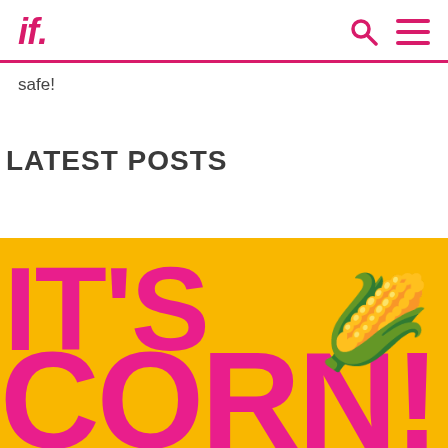if.
safe!
LATEST POSTS
[Figure (illustration): Yellow banner with large pink bold text reading IT'S CORN! with a corn emoji in the top right corner on a golden yellow background]